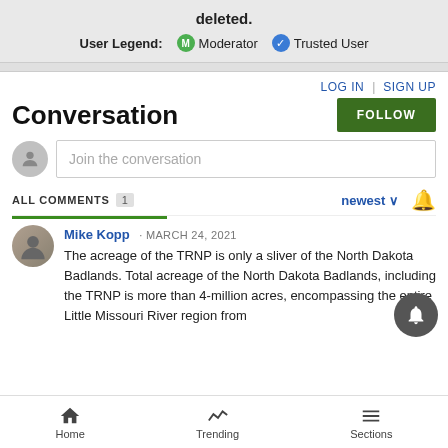deleted.
User Legend: M Moderator ✓ Trusted User
Conversation
LOG IN | SIGN UP
FOLLOW
Join the conversation
ALL COMMENTS 1
newest ∨
Mike Kopp · MARCH 24, 2021
The acreage of the TRNP is only a sliver of the North Dakota Badlands. Total acreage of the North Dakota Badlands, including the TRNP is more than 4-million acres, encompassing the entire Little Missouri River region from
Home   Trending   Sections